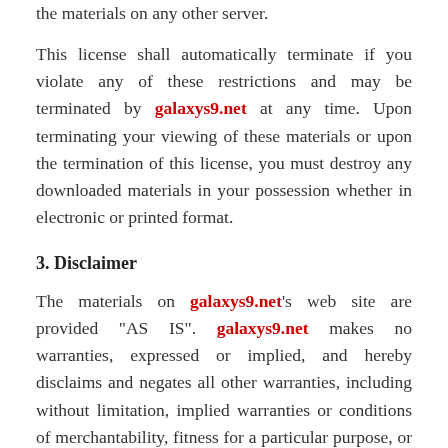the materials on any other server.
This license shall automatically terminate if you violate any of these restrictions and may be terminated by galaxys9.net at any time. Upon terminating your viewing of these materials or upon the termination of this license, you must destroy any downloaded materials in your possession whether in electronic or printed format.
3. Disclaimer
The materials on galaxys9.net's web site are provided "AS IS". galaxys9.net makes no warranties, expressed or implied, and hereby disclaims and negates all other warranties, including without limitation, implied warranties or conditions of merchantability, fitness for a particular purpose, or non-infringement of intellectual property or other violation of rights. Further, galaxys9.net does not warrant or make any representations concerning the accuracy, likely results